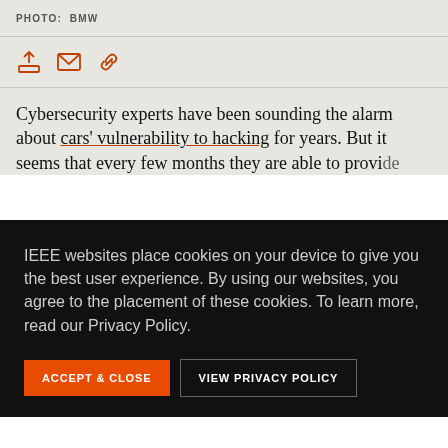PHOTO: BMW
[Figure (other): Share icons: upload/share, email, link]
Cybersecurity experts have been sounding the alarm about cars' vulnerability to hacking for years. But it seems that every few months they are able to provide
IEEE websites place cookies on your device to give you the best user experience. By using our websites, you agree to the placement of these cookies. To learn more, read our Privacy Policy.
ACCEPT & CLOSE | VIEW PRIVACY POLICY